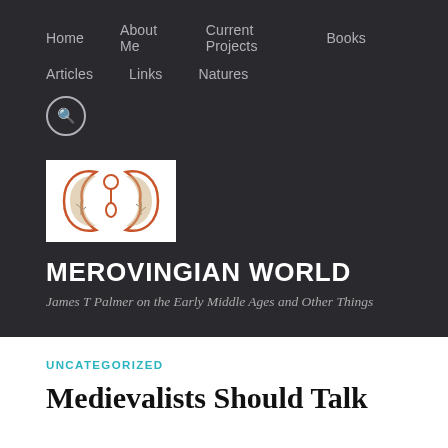Home   About Me   Current Projects   Books   Articles   Links   Natures
[Figure (logo): Merovingian World blog logo: two stylized fish or creatures forming a heart shape in orange/brown tones with botanical illustrations inside, on white background]
MEROVINGIAN WORLD
James T Palmer on the Early Middle Ages and Other Things
UNCATEGORIZED
Medievalists Should Talk